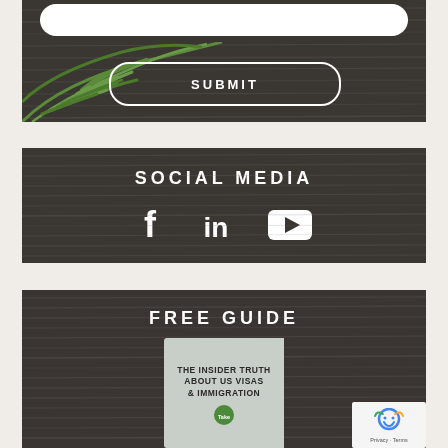[Figure (screenshot): Dark wood-textured background section with a white rounded input field at top and a SUBMIT button with white rounded-rectangle border outline, overlaid with green palm leaves on the left side]
SOCIAL MEDIA
[Figure (illustration): Social media icons: Facebook (f), LinkedIn (in), and YouTube (play button triangle) in white on dark wood background]
FREE GUIDE
[Figure (photo): Book cover reading: THE INSIDER TRUTH ABOUT US VISAS & IMMIGRATION with a Take a copy badge at the bottom, displayed on dark wood background]
[Figure (logo): reCAPTCHA badge with robot icon and Privacy - Terms text]